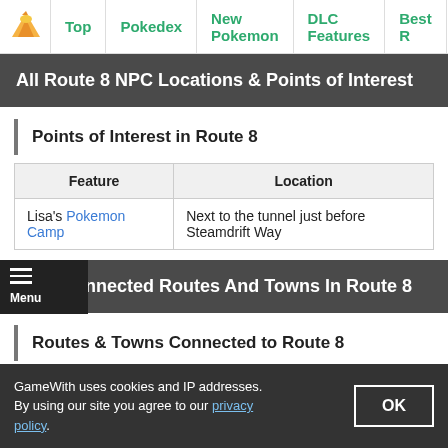Top | Pokedex | New Pokemon | DLC Features | Best R
All Route 8 NPC Locations & Points of Interest
Points of Interest in Route 8
| Feature | Location |
| --- | --- |
| Lisa's Pokemon Camp | Next to the tunnel just before Steamdrift Way |
Connected Routes And Towns In Route 8
Routes & Towns Connected to Route 8
GameWith uses cookies and IP addresses. By using our site you agree to our privacy policy.